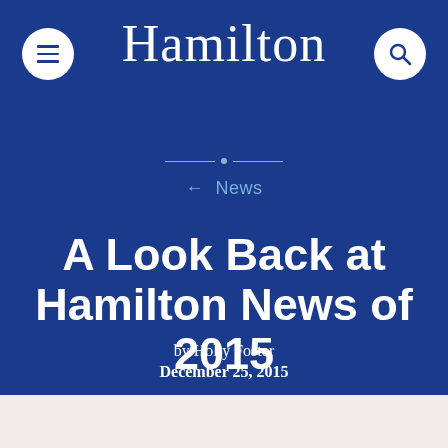Hamilton
← News
A Look Back at Hamilton News of 2015
by Holly Foster
December 25, 2015
[Figure (photo): Partial photo of a person visible at the bottom of the page]